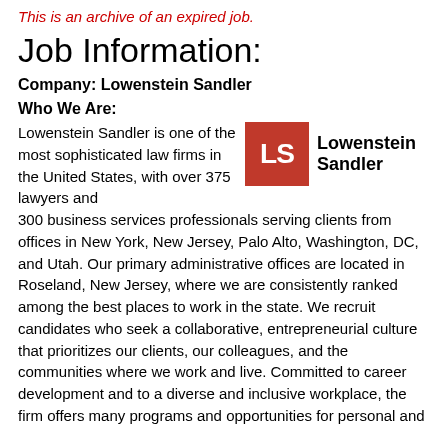This is an archive of an expired job.
Job Information:
Company: Lowenstein Sandler
Who We Are:
[Figure (logo): Lowenstein Sandler logo: red square with white 'LS' letters, followed by bold text 'Lowenstein Sandler']
Lowenstein Sandler is one of the most sophisticated law firms in the United States, with over 375 lawyers and 300 business services professionals serving clients from offices in New York, New Jersey, Palo Alto, Washington, DC, and Utah. Our primary administrative offices are located in Roseland, New Jersey, where we are consistently ranked among the best places to work in the state. We recruit candidates who seek a collaborative, entrepreneurial culture that prioritizes our clients, our colleagues, and the communities where we work and live. Committed to career development and to a diverse and inclusive workplace, the firm offers many programs and opportunities for personal and